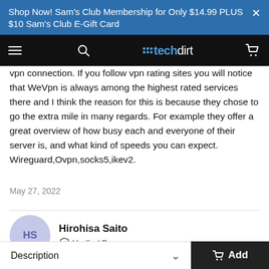Shop Now! Sam's Club Membership for Only $14.99 PLUS $10 Sam's Club E-Gift Card
techdirt
vpn connection. If you follow vpn rating sites you will notice that WeVpn is always among the highest rated services there and I think the reason for this is because they chose to go the extra mile in many regards. For example they offer a great overview of how busy each and everyone of their server is, and what kind of speeds you can expect. Wireguard,Ovpn,socks5,ikev2.
May 27, 2022
Hirohisa Saito
Verified Buyer
Description